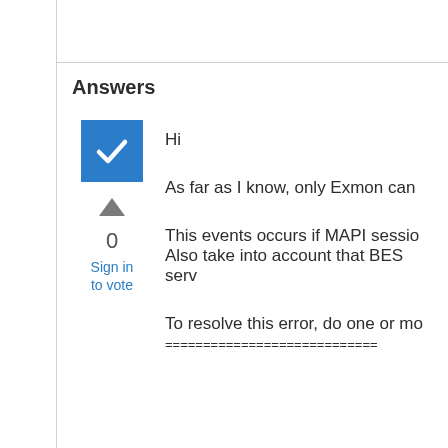Answers
[Figure (illustration): Blue checkmark box icon indicating accepted answer]
0
Sign in to vote
Hi
As far as I know, only Exmon can
This events occurs if MAPI sessio
Also take into account that BES serv
To resolve this error, do one or mo
============================